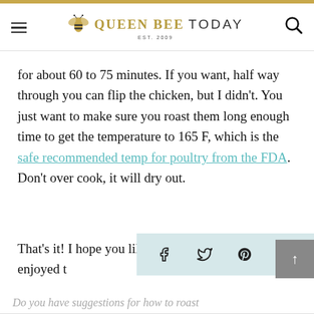QUEEN BEE TODAY EST. 2009
for about 60 to 75 minutes. If you want, half way through you can flip the chicken, but I didn't. You just want to make sure you roast them long enough time to get the temperature to 165 F, which is the safe recommended temp for poultry from the FDA. Don't over cook, it will dry out.
That's it! I hope you like them. My family really enjoyed t
Do you have suggestions for how to roast